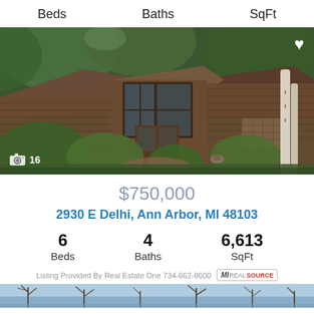Beds   Baths   SqFt
[Figure (photo): Exterior of a wood-sided house with tall trees, lush greenery, brick pathway, large wooden front door with glass panels, and a white birch tree. Camera icon with photo count badge showing 16 photos. Heart/favorite icon in top right.]
$750,000
2930 E Delhi, Ann Arbor, MI 48103
6 Beds   4 Baths   6,613 SqFt
Listing Provided By Real Estate One 734-662-8600
[Figure (photo): Bottom strip of another property photo showing trees against blue sky.]